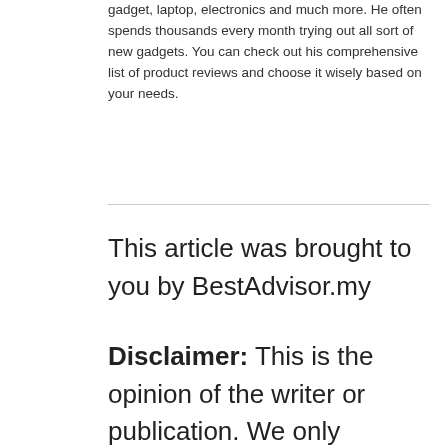gadget, laptop, electronics and much more. He often spends thousands every month trying out all sort of new gadgets. You can check out his comprehensive list of product reviews and choose it wisely based on your needs.
This article was brought to you by BestAdvisor.my
Disclaimer: This is the opinion of the writer or publication. We only recommend products or services that we have tested and tried ourselves or have done in-depth research with positive external reviews and find them to be useful for everyone. The products/services shown are available upon the publication date. The availability may change from time to time.